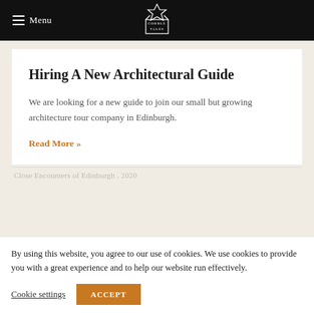Menu | Cobble Tales
Hiring A New Architectural Guide
We are looking for a new guide to join our small but growing architecture tour company in Edinburgh.
Read More »
By using this website, you agree to our use of cookies. We use cookies to provide you with a great experience and to help our website run effectively.
Cookie settings  ACCEPT